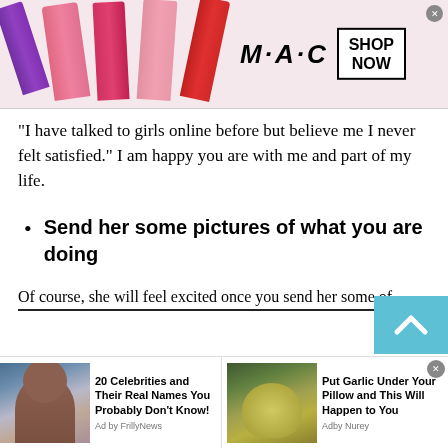[Figure (screenshot): MAC Cosmetics advertisement banner with lipstick tubes on the left, MAC logo in the center, and a SHOP NOW box on the right with a close button]
“I have talked to girls online before but believe me I never felt satisfied.” I am happy you are with me and part of my life.
Send her some pictures of what you are doing
Of course, she will feel excited once you send her some of
[Figure (screenshot): Bottom advertisement strip with two ads: '20 Celebrities and Their Real Names You Probably Don't Know!' by FrillyNews with Oprah photo, and 'Put Garlic Under Your Pillow and This Will Happen to You' by Nurey with garlic photo]